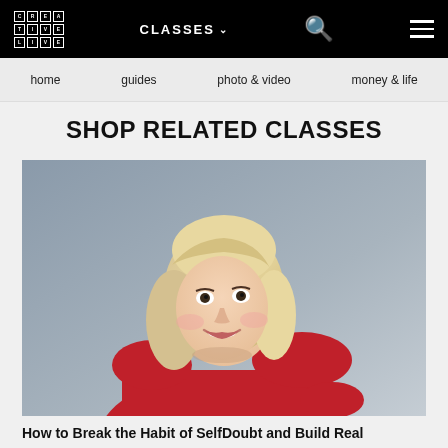CreativeLive — CLASSES
home   guides   photo & video   money & life
SHOP RELATED CLASSES
[Figure (photo): A smiling blonde woman wearing a red sleeveless top, photographed against a grey background, looking upward and to her left]
How to Break the Habit of SelfDoubt and Build Real